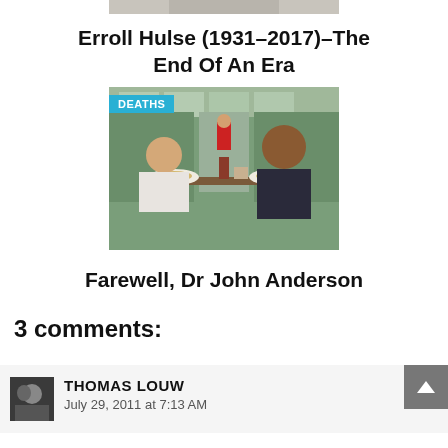[Figure (photo): Top portion of a photo, partially cropped at top of page]
Erroll Hulse (1931–2017)–The End Of An Era
[Figure (photo): Photo of two men dining together at a table in a greenhouse or garden center, with a 'DEATHS' badge overlay]
Farewell, Dr John Anderson
3 comments:
THOMAS LOUW
July 29, 2011 at 7:13 AM